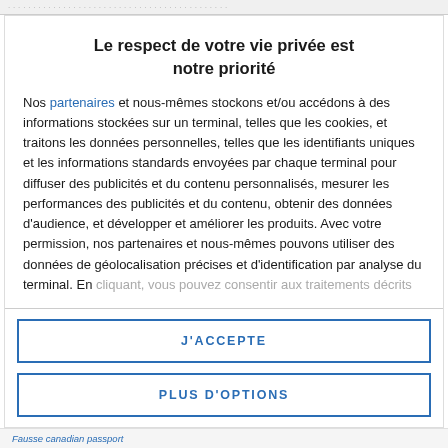Le respect de votre vie privée est notre priorité
Nos partenaires et nous-mêmes stockons et/ou accédons à des informations stockées sur un terminal, telles que les cookies, et traitons les données personnelles, telles que les identifiants uniques et les informations standards envoyées par chaque terminal pour diffuser des publicités et du contenu personnalisés, mesurer les performances des publicités et du contenu, obtenir des données d'audience, et développer et améliorer les produits. Avec votre permission, nos partenaires et nous-mêmes pouvons utiliser des données de géolocalisation précises et d'identification par analyse du terminal. En cliquant, vous pouvez consentir aux traitements décrits
J'ACCEPTE
PLUS D'OPTIONS
Fausse canadian passport